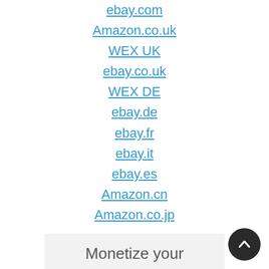ebay.com
Amazon.co.uk
WEX UK
ebay.co.uk
WEX DE
ebay.de
ebay.fr
ebay.it
ebay.es
Amazon.cn
Amazon.co.jp
Monetize your